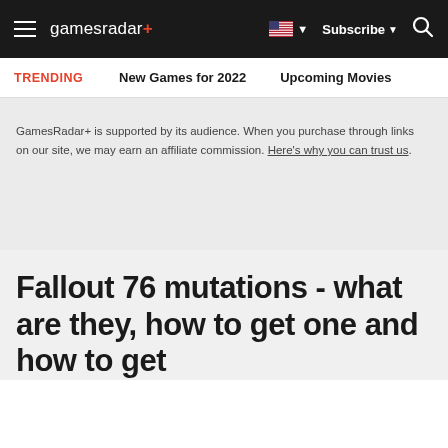gamesradar+ — Subscribe — Search
TRENDING   New Games for 2022   Upcoming Movies
GamesRadar+ is supported by its audience. When you purchase through links on our site, we may earn an affiliate commission. Here's why you can trust us.
Fallout 76 mutations - what are they, how to get one and how to get